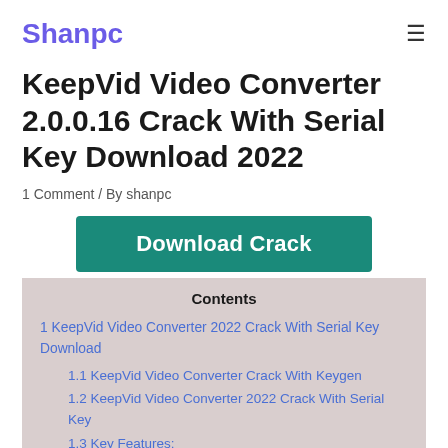Shanpc
KeepVid Video Converter 2.0.0.16 Crack With Serial Key Download 2022
1 Comment / By shanpc
[Figure (other): Download Crack button in teal/dark green color]
Contents
1 KeepVid Video Converter 2022 Crack With Serial Key Download
1.1 KeepVid Video Converter Crack With Keygen
1.2 KeepVid Video Converter 2022 Crack With Serial Key
1.3 Key Features:
1.4 What's New?
1.5 KeepVid Video Converter Serial Key 2022: